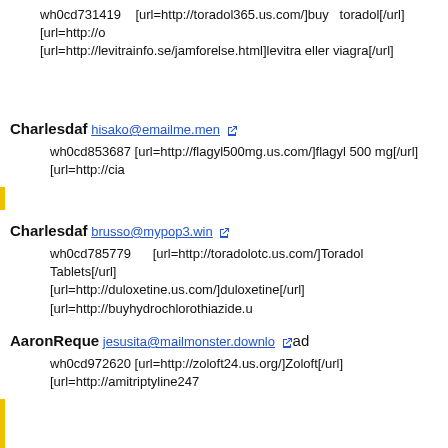wh0cd731419    [url=http://toradol365.us.com/]buy    toradol[/url]    [url=http://o [url=http://levitrainfo.se/jamforelse.html]levitra eller viagra[/url]
Charlesdaf hisako@emailme.men
wh0cd853687 [url=http://flagyl500mg.us.com/]flagyl 500 mg[/url] [url=http://cia
Charlesdaf brusso@mypop3.win
wh0cd785779        [url=http://toradolotc.us.com/]Toradol        Tablets[/url] [url=http://duloxetine.us.com/]duloxetine[/url] [url=http://buyhydrochlorothiazide.u
AaronReque jesusita@mailmonster.downlo ad
wh0cd972620 [url=http://zoloft24.us.org/]Zoloft[/url] [url=http://amitriptyline247
AlfredVUH tallonkx250@snailmail.downlo ad
wh0cd852564 [url=http://viagrasoft24.us.org/]viagra soft[/url] [url=http://cheap
BennyTraib murerfied4@yourfreemail.stream
wh0cd233089    [url=http://cialisprice.us.org/]cialis    price[/url]    [url=